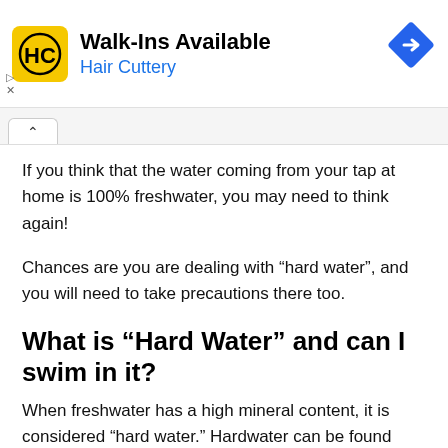[Figure (other): Hair Cuttery advertisement banner with yellow HC logo, text 'Walk-Ins Available' and 'Hair Cuttery', and a blue diamond-shaped directions icon]
If you think that the water coming from your tap at home is 100% freshwater, you may need to think again!
Chances are you are dealing with “hard water”, and you will need to take precautions there too.
What is “Hard Water” and can I swim in it?
When freshwater has a high mineral content, it is considered “hard water.” Hardwater can be found most commonly in lakes and even shower water!